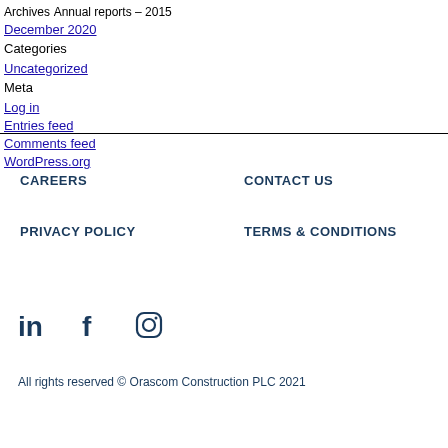Archives
Annual reports – 2015
December 2020
Categories
Uncategorized
Meta
Log in
Entries feed
Comments feed
WordPress.org
CAREERS
CONTACT US
PRIVACY POLICY
TERMS & CONDITIONS
[Figure (illustration): Social media icons: LinkedIn, Facebook, Instagram]
All rights reserved © Orascom Construction PLC 2021